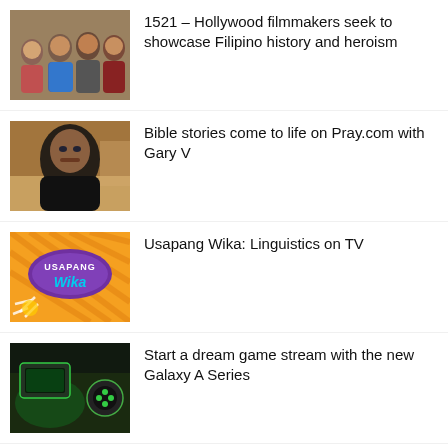[Figure (photo): Group of people posing together indoors]
1521 – Hollywood filmmakers seek to showcase Filipino history and heroism
[Figure (photo): Close-up of a man with Egyptian or ancient background]
Bible stories come to life on Pray.com with Gary V
[Figure (photo): Usapang Wika logo – orange/yellow decorative background with show title]
Usapang Wika: Linguistics on TV
[Figure (photo): Partial image of a game stream setup]
Start a dream game stream with the new Galaxy A Series